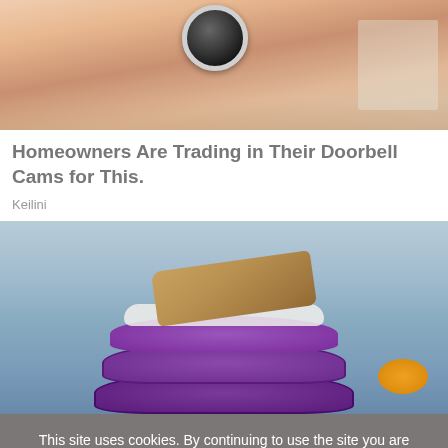[Figure (photo): A hand holding a small round security camera, with boxes visible in the background]
Homeowners Are Trading in Their Doorbell Cams for This.
Keilini
[Figure (photo): A stack of purple pancakes topped with what appears to be peanut butter, photographed close-up in a kitchen setting with oranges visible in the background]
This site uses cookies. By continuing to use the site you are agreeing to our use of cookies.